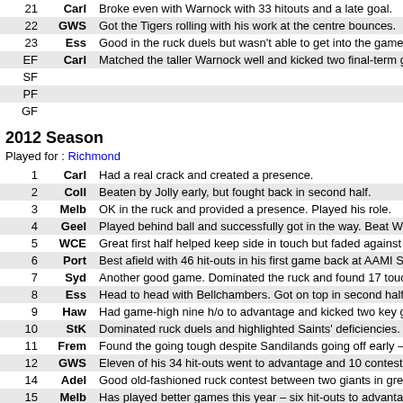| # | Team | Notes |
| --- | --- | --- |
| 21 | Carl | Broke even with Warnock with 33 hitouts and a late goal. |
| 22 | GWS | Got the Tigers rolling with his work at the centre bounces. |
| 23 | Ess | Good in the ruck duels but wasn't able to get into the game at |
| EF | Carl | Matched the taller Warnock well and kicked two final-term goa |
| SF |  |  |
| PF |  |  |
| GF |  |  |
2012 Season
Played for : Richmond
| # | Team | Notes |
| --- | --- | --- |
| 1 | Carl | Had a real crack and created a presence. |
| 2 | Coll | Beaten by Jolly early, but fought back in second half. |
| 3 | Melb | OK in the ruck and provided a presence. Played his role. |
| 4 | Geel | Played behind ball and successfully got in the way. Beat West |
| 5 | WCE | Great first half helped keep side in touch but faded against Na |
| 6 | Port | Best afield with 46 hit-outs in his first game back at AAMI Stad |
| 7 | Syd | Another good game. Dominated the ruck and found 17 touche |
| 8 | Ess | Head to head with Bellchambers. Got on top in second half. |
| 9 | Haw | Had game-high nine h/o to advantage and kicked two key goa |
| 10 | StK | Dominated ruck duels and highlighted Saints' deficiencies. |
| 11 | Frem | Found the going tough despite Sandilands going off early – fu |
| 12 | GWS | Eleven of his 34 hit-outs went to advantage and 10 contested |
| 14 | Adel | Good old-fashioned ruck contest between two giants in great f |
| 15 | Melb | Has played better games this year – six hit-outs to advantage |
| 17 | NM | Tried super hard but his influence wasn't noticeable. |
| 18 | Carl | A force in final term |
| 19 | Bris | Won the hitouts (41) and competed hard all over the ground. |